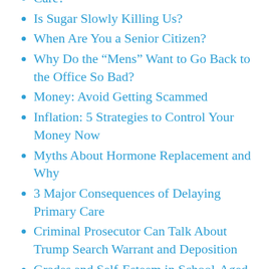Care?
Is Sugar Slowly Killing Us?
When Are You a Senior Citizen?
Why Do the “Mens” Want to Go Back to the Office So Bad?
Money: Avoid Getting Scammed
Inflation: 5 Strategies to Control Your Money Now
Myths About Hormone Replacement and Why
3 Major Consequences of Delaying Primary Care
Criminal Prosecutor Can Talk About Trump Search Warrant and Deposition
Grades and Self-Esteem in School-Aged Children